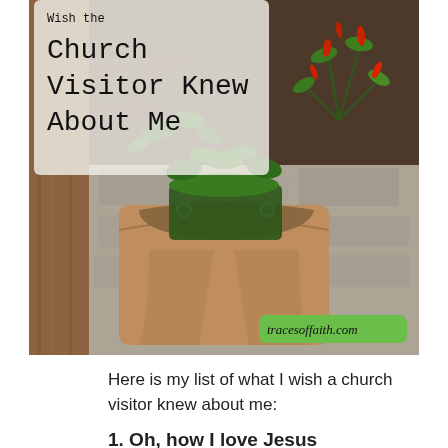[Figure (photo): A photo of a brown leather/fabric bag with a potted plant (green with red peppers/flowers) inside, hanging against a stone wall. Overlaid text reads 'Wish the Church Visitor Knew About Me' in a typewriter font. A watermark in cursive pink/red script is faintly visible. A green badge in the bottom right reads 'tracesoffaith.com'.]
Here is my list of what I wish a church visitor knew about me:
1. Oh, how I love Jesus